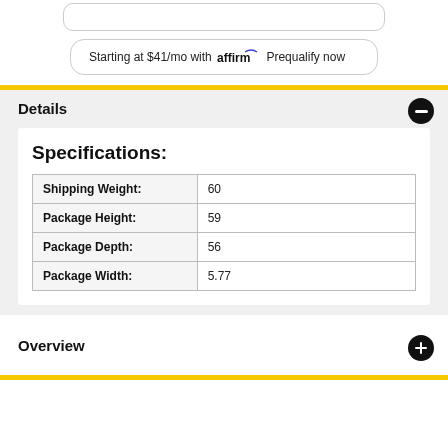Starting at $41/mo with affirm Prequalify now
Details
Specifications:
|  |  |
| --- | --- |
| Shipping Weight: | 60 |
| Package Height: | 59 |
| Package Depth: | 56 |
| Package Width: | 5.77 |
Overview